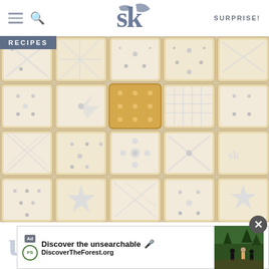SK logo header with hamburger menu, search icon, and SURPRISE! link
[Figure (photo): Overhead photo of decorated square sugar cookies with white royal icing in various patterns — crosshatch, dots, flowers, stars — arranged in a grid. One uniced golden cookie visible in the center.]
RECIPES
unfussy sugar coo
[Figure (other): Advertisement banner: 'Discover the unsearchable' with DiscoverTheForest.org and a forest hiking photo with people on a trail.]